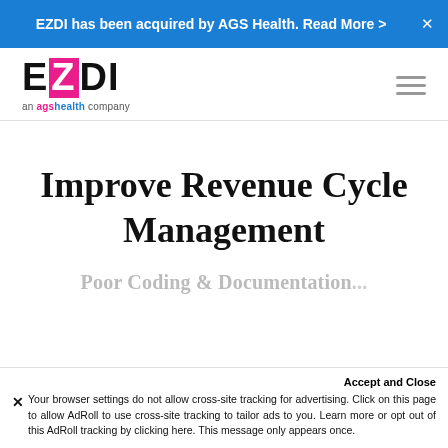EZDI has been acquired by AGS Health. Read More >
[Figure (logo): EZDI logo with stylized Z in pink box, tagline 'an agshealth company']
Improve Revenue Cycle Management
Poor Coding & Documentation...
Accept and Close
× Your browser settings do not allow cross-site tracking for advertising. Click on this page to allow AdRoll to use cross-site tracking to tailor ads to you. Learn more or opt out of this AdRoll tracking by clicking here. This message only appears once.